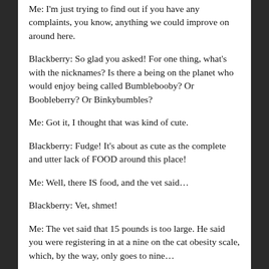Me: I'm just trying to find out if you have any complaints, you know, anything we could improve on around here.
Blackberry: So glad you asked! For one thing, what's with the nicknames? Is there a being on the planet who would enjoy being called Bumblebooby? Or Boobleberry? Or Binkybumbles?
Me: Got it, I thought that was kind of cute.
Blackberry: Fudge! It's about as cute as the complete and utter lack of FOOD around this place!
Me: Well, there IS food, and the vet said…
Blackberry: Vet, shmet!
Me: The vet said that 15 pounds is too large. He said you were registering in at a nine on the cat obesity scale, which, by the way, only goes to nine…
Blackberry: Nonsense. I am a full-figured cat, and I